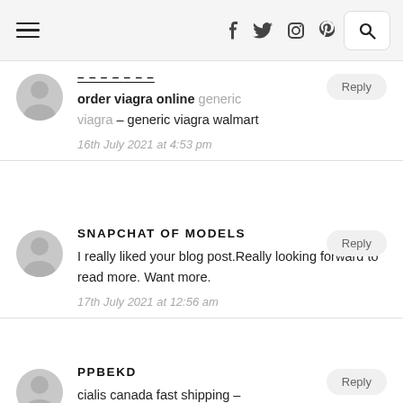Navigation header with hamburger menu, social icons (f, twitter, instagram, pinterest), and search
order viagra online generic viagra – generic viagra walmart
16th July 2021 at 4:53 pm
SNAPCHAT OF MODELS
I really liked your blog post.Really looking forward to read more. Want more.
17th July 2021 at 12:56 am
PPBEKD
cialis canada fast shipping –